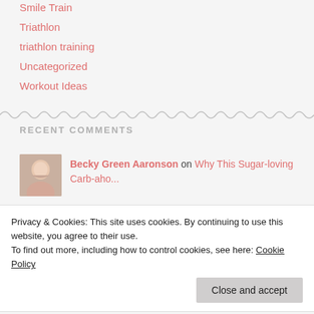Smile Train
Triathlon
triathlon training
Uncategorized
Workout Ideas
RECENT COMMENTS
Becky Green Aaronson on Why This Sugar-loving Carb-aho...
Privacy & Cookies: This site uses cookies. By continuing to use this website, you agree to their use.
To find out more, including how to control cookies, see here: Cookie Policy